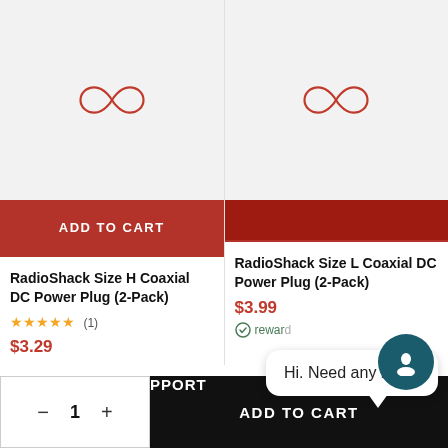[Figure (screenshot): Product listing screenshot showing two RadioShack coaxial DC power plug products with placeholder infinity logo images, Add to Cart buttons, product titles, ratings, and prices]
RadioShack Size H Coaxial DC Power Plug (2-Pack)
★★★★★ (1)
$3.29
RadioShack Size L Coaxial DC Power Plug (2-Pack)
$3.99
rewards
Hi. Need any help?
- 1 +
ADD TO CART
PPORT